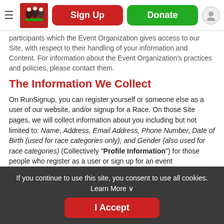[Figure (screenshot): Website header with hamburger menu icon, cycling team photo logo, red Sign Up button, green Donate button, and user profile icon]
participants which the Event Organization gives access to our Site, with respect to their handling of your information and Content. For information about the Event Organization's practices and policies, please contact them.
The Information We Collect
On RunSignup, you can register yourself or someone else as a user of our website, and/or signup for a Race. On those Site pages, we will collect information about you including but not limited to: Name, Address, Email Address, Phone Number, Date of Birth (used for race categories only), and Gender (also used for race categories) (Collectively "Profile Information") for those people who register as a user or sign up for an event
If you continue to use this site, you consent to use all cookies. Learn More ∨
I Accept